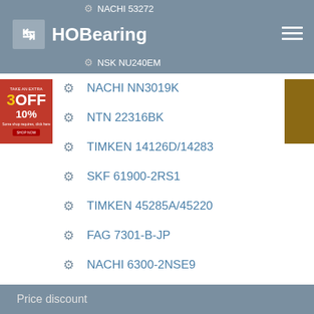HOBearing — NACHI 53272 / NSK NU240EM
NACHI NN3019K
NTN 22316BK
TIMKEN 14126D/14283
SKF 61900-2RS1
TIMKEN 45285A/45220
FAG 7301-B-JP
NACHI 6300-2NSE9
KOYO B812
Price discount